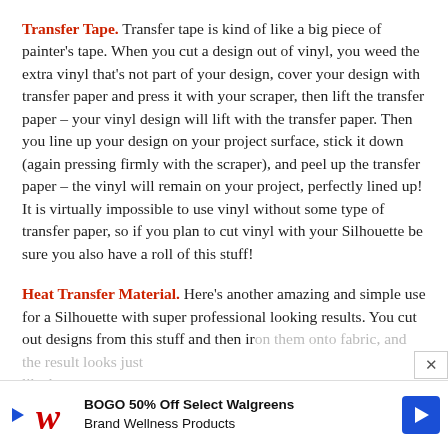Transfer Tape. Transfer tape is kind of like a big piece of painter's tape. When you cut a design out of vinyl, you weed the extra vinyl that's not part of your design, cover your design with transfer paper and press it with your scraper, then lift the transfer paper – your vinyl design will lift with the transfer paper. Then you line up your design on your project surface, stick it down (again pressing firmly with the scraper), and peel up the transfer paper – the vinyl will remain on your project, perfectly lined up! It is virtually impossible to use vinyl without some type of transfer paper, so if you plan to cut vinyl with your Silhouette be sure you also have a roll of this stuff!
Heat Transfer Material. Here's another amazing and simple use for a Silhouette with super professional looking results. You cut out designs from this stuff and then iron them on to fabric, and the result looks just like bakery...
[Figure (other): Advertisement banner: BOGO 50% Off Select Walgreens Brand Wellness Products, with Walgreens logo and blue arrow icon. Close button (X) in top right corner.]